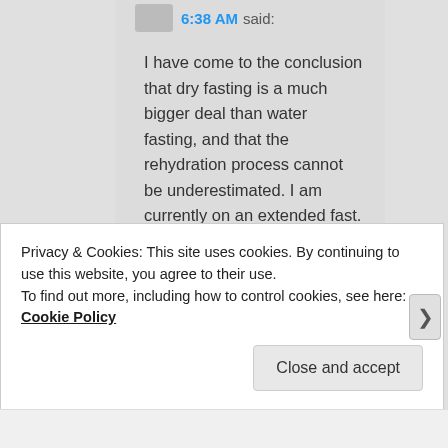6:38 AM said:
I have come to the conclusion that dry fasting is a much bigger deal than water fasting, and that the rehydration process cannot be underestimated. I am currently on an extended fast. I did 5 days of water, followed by 5 days of dry, and now I have completed 4 days of water again. It has taken these 4 days of 2 liters of water per day...
Privacy & Cookies: This site uses cookies. By continuing to use this website, you agree to their use.
To find out more, including how to control cookies, see here: Cookie Policy
Close and accept